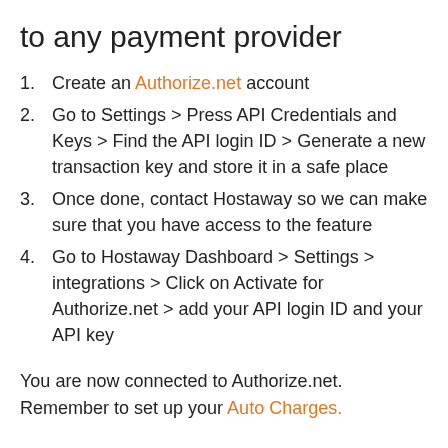to any payment provider
Create an Authorize.net account
Go to Settings > Press API Credentials and Keys > Find the API login ID > Generate a new transaction key and store it in a safe place
Once done, contact Hostaway so we can make sure that you have access to the feature
Go to Hostaway Dashboard > Settings > integrations > Click on Activate for Authorize.net > add your API login ID and your API key
You are now connected to Authorize.net. Remember to set up your Auto Charges.
Your Hostaway account is connected to a payment provider